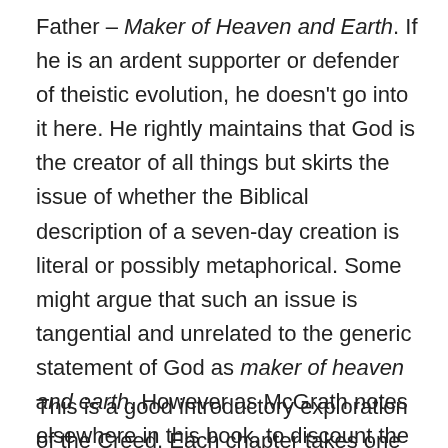Father – Maker of Heaven and Earth. If he is an ardent supporter or defender of theistic evolution, he doesn't go into it here. He rightly maintains that God is the creator of all things but skirts the issue of whether the Biblical description of a seven-day creation is literal or possibly metaphorical. Some might argue that such an issue is tangential and unrelated to the generic statement of God as maker of heaven and earth. However as McGrath notes elsewhere in this book, to discount the miraculous in one part of Scripture throws a wrench into maintaining support for the miraculous elsewhere. And while I don't doubt McGrath would argue theistic evolution is not denying God's miraculous creative role, there are many Christians (myself included) who disagree with him.
This is a good introductory exploration of the Creed. Each chapter takes one area of the ten faith statements…